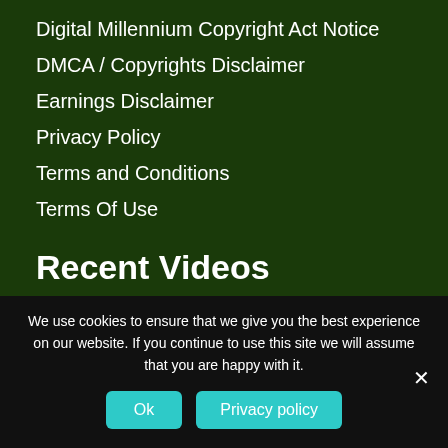Digital Millennium Copyright Act Notice
DMCA / Copyrights Disclaimer
Earnings Disclaimer
Privacy Policy
Terms and Conditions
Terms Of Use
Recent Videos
ConvertKit
We use cookies to ensure that we give you the best experience on our website. If you continue to use this site we will assume that you are happy with it.
Ok
Privacy policy